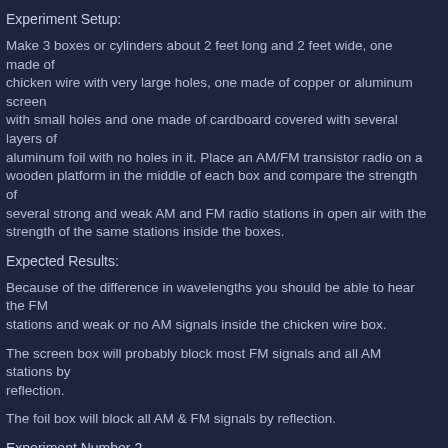Experiment Setup:
Make 3 boxes or cylinders about 2 feet long and 2 feet wide, one made of chicken wire with very large holes, one made of copper or aluminum screen with small holes and one made of cardboard covered with several layers of aluminum foil with no holes in it. Place an AM/FM transistor radio on a wooden platform in the middle of each box and compare the strength of several strong and weak AM and FM radio stations in open air with the strength of the same stations inside the boxes.
Expected Results:
Because of the difference in wavelengths you should be able to hear the FM stations and weak or no AM signals inside the chicken wire box.
The screen box will probably block most FM signals and all AM stations by reflection.
The foil box will block all AM & FM signals by reflection.
Experiment Number 2
You could also compare AM & FM signals in a cardboard box, a wooden box and perhaps a glass box (fish tank with a metal lid). The AM and FM radio signals strength should be the same inside and outside of the boxes. You should not be able to receive radio signals